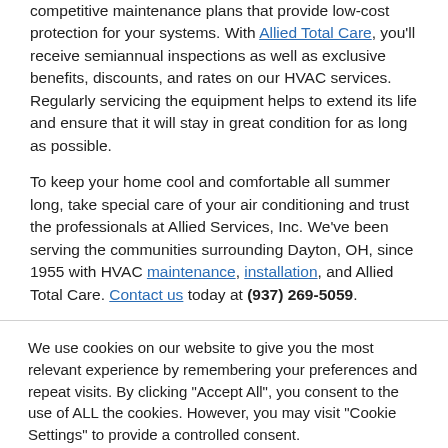competitive maintenance plans that provide low-cost protection for your systems. With Allied Total Care, you'll receive semiannual inspections as well as exclusive benefits, discounts, and rates on our HVAC services. Regularly servicing the equipment helps to extend its life and ensure that it will stay in great condition for as long as possible.
To keep your home cool and comfortable all summer long, take special care of your air conditioning and trust the professionals at Allied Services, Inc. We've been serving the communities surrounding Dayton, OH, since 1955 with HVAC maintenance, installation, and Allied Total Care. Contact us today at (937) 269-5059.
We use cookies on our website to give you the most relevant experience by remembering your preferences and repeat visits. By clicking "Accept All", you consent to the use of ALL the cookies. However, you may visit "Cookie Settings" to provide a controlled consent.
Cookie Settings | Accept All